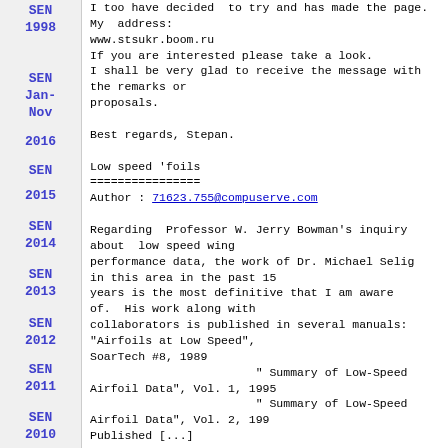SEN 1998
I too have decided to try and has made the page.
My  address:
www.stsukr.boom.ru
If you are interested please take a look.
I shall be very glad to receive the message with the remarks or
proposals.

Best regards, Stepan.
SEN Jan-Nov 2016
SEN 2015
Low speed 'foils
================
Author : 71623.755@compuserve.com

Regarding  Professor W. Jerry Bowman's inquiry about  low speed wing performance data, the work of Dr. Michael Selig in this area in the past 15 years is the most definitive that I am aware of.  His work along with collaborators is published in several manuals: "Airfoils at Low Speed",
SoarTech #8, 1989
                        " Summary of Low-Speed Airfoil Data", Vol. 1, 1995
                        " Summary of Low-Speed Airfoil Data", Vol. 2, 199
Published [...]
SEN 2014
SEN 2013
SEN 2012
SEN 2011
SEN 2010